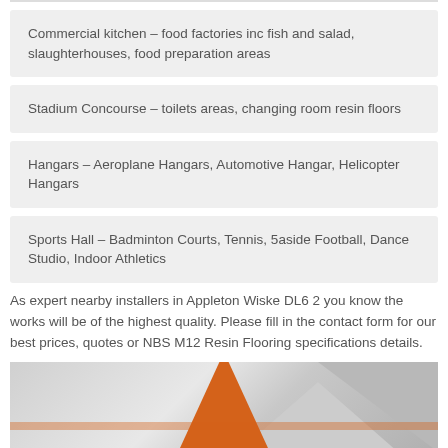Commercial kitchen – food factories inc fish and salad, slaughterhouses, food preparation areas
Stadium Concourse – toilets areas, changing room resin floors
Hangars – Aeroplane Hangars, Automotive Hangar, Helicopter Hangars
Sports Hall – Badminton Courts, Tennis, 5aside Football, Dance Studio, Indoor Athletics
As expert nearby installers in Appleton Wiske DL6 2 you know the works will be of the highest quality. Please fill in the contact form for our best prices, quotes or NBS M12 Resin Flooring specifications details.
[Figure (photo): Photo showing an orange cone or similar orange object with geometric gray triangle shapes in the background]